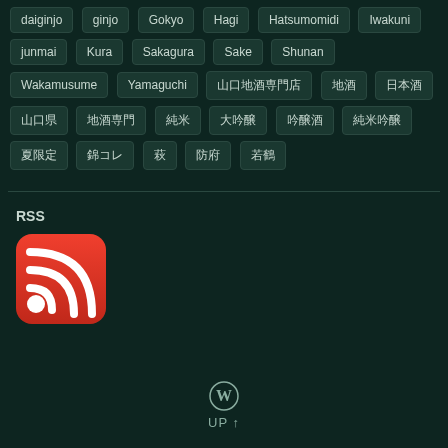daiginjo, ginjo, Gokyo, Hagi, Hatsumomidi, Iwakuni, junmai, Kura, Sakagura, Sake, Shunan, Wakamusume, Yamaguchi, 山口地酒専門店, 地酒, 日本酒, 山口県, 地酒専門, 純米, 大吟醸, 吟醸酒, 純米吟醸, 夏限定, 錦コレ, 萩, 防府, 若鶴
RSS
[Figure (logo): RSS feed icon - red rounded square with white RSS signal waves]
[Figure (logo): WordPress logo - circular W icon]
UP ↑